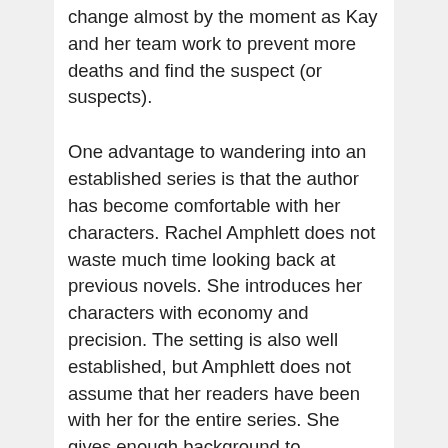change almost by the moment as Kay and her team work to prevent more deaths and find the suspect (or suspects).
One advantage to wandering into an established series is that the author has become comfortable with her characters. Rachel Amphlett does not waste much time looking back at previous novels. She introduces her characters with economy and precision. The setting is also well established, but Amphlett does not assume that her readers have been with her for the entire series. She gives enough background to acknowledge there is a history, and enough detail to pick up the story where this book